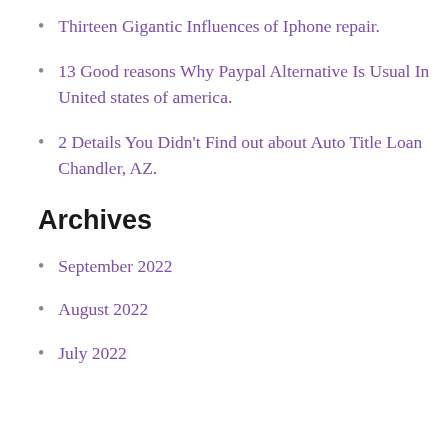Thirteen Gigantic Influences of Iphone repair.
13 Good reasons Why Paypal Alternative Is Usual In United states of america.
2 Details You Didn't Find out about Auto Title Loan Chandler, AZ.
Archives
September 2022
August 2022
July 2022